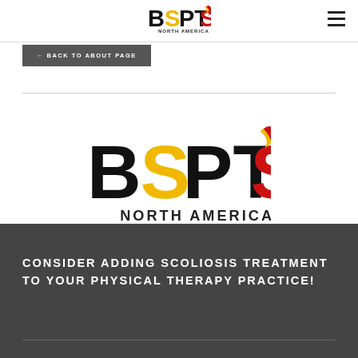[Figure (logo): BSPTS North America logo in header - black B, yellow S, P, red T, S with flame design, text NORTH AMERICA below]
← BACK TO ABOUT PAGE
[Figure (logo): Large BSPTS North America logo centered - black B, yellow S, P, red T, S flame, NORTH AMERICA text below]
CONSIDER ADDING SCOLIOSIS TREATMENT TO YOUR PHYSICAL THERAPY PRACTICE!